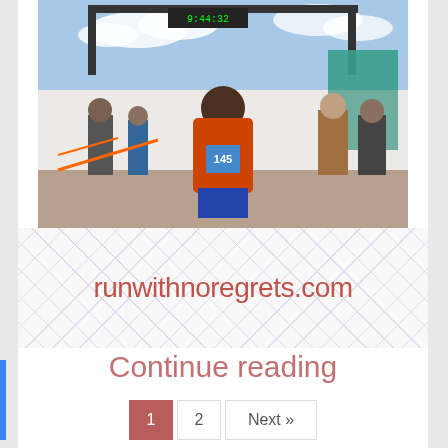[Figure (photo): A runner wearing an orange hoodie and race bib number 145 standing at what appears to be a race start/finish area with timing clock visible overhead, other people in the background, near New Jersey waterfront]
runwithnoregrets.com
Continue reading
1  2  Next »